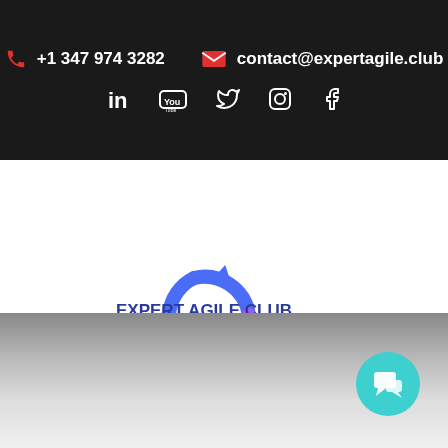+1 347 974 3282  contact@expertagile.club
[Figure (logo): Expert Agile Club logo with circular agile cycle graphic and text EXPERT AGILE CLUB with PLAN, REVIEW, LAUNCH arrows]
[Figure (other): Teal circular chat button in bottom right corner]